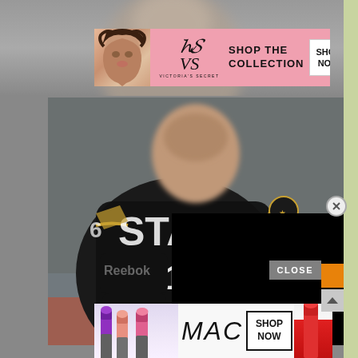[Figure (screenshot): Victoria's Secret advertisement banner with model, VS logo, 'SHOP THE COLLECTION' text and 'SHOP NOW' button on pink background]
[Figure (photo): Hockey player wearing black jersey with number 16 and 'STA' letters visible, Reebok gloves, on ice. Right portion covered by black rectangle overlay. CLOSE button visible at bottom right.]
[Figure (screenshot): MAC cosmetics advertisement banner with lipsticks on left, MAC logo in center, 'SHOP NOW' button, and red lipstick on right]